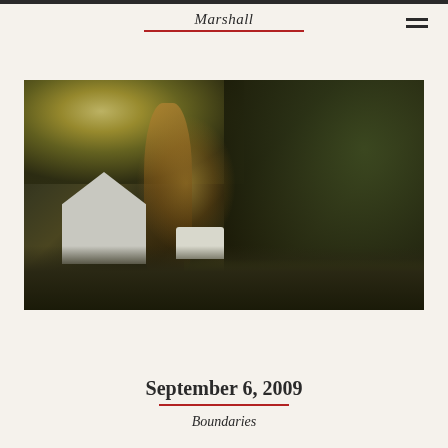Marshall
[Figure (photo): Outdoor photograph taken through a window or glass, showing a house with white trim and a dormer window, surrounded by large trees with golden evening light filtering through. A blurred silhouette or reflection is visible in the foreground. The scene has a warm, golden-hour quality with green lawn visible at bottom right.]
September 6, 2009
Boundaries